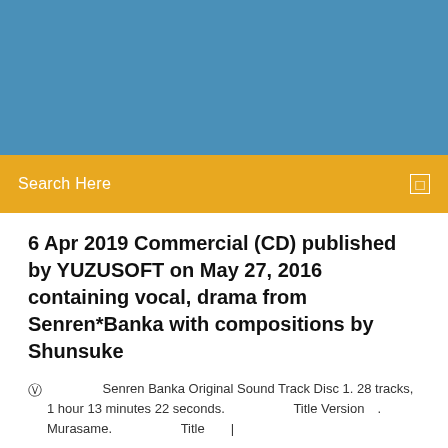[Figure (other): Blue banner/header background image area]
Search Here
6 Apr 2019 Commercial (CD) published by YUZUSOFT on May 27, 2016 containing vocal, drama from Senren*Banka with compositions by Shunsuke
Senren Banka Original Sound Track Disc 1. 28 tracks, 1 hour 13 minutes 22 seconds. 　　　　Title Version　. Murasame. 　　　　Title　|
10 Comments